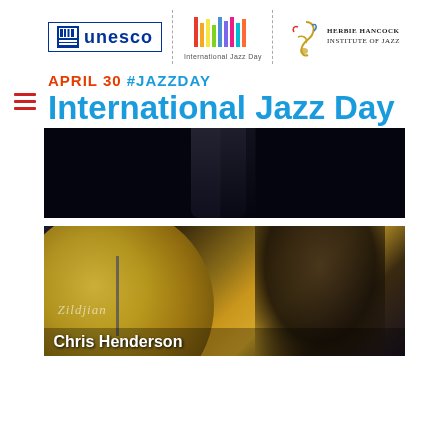[Figure (logo): UNESCO logo, International Jazz Day logo with colorful vertical bars, and Herbie Hancock Institute of Jazz logo side by side with dashed vertical dividers]
APRIL 30 #JAZZDAY
International Jazz Day
[Figure (photo): Dark background photo showing a partial silhouette of a person]
[Figure (photo): Photo of Chris Henderson at drums with a large Zildjian cymbal in foreground, caption 'Chris Henderson' overlaid at bottom]